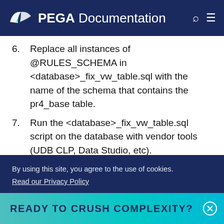PEGA Documentation
6. Replace all instances of @RULES_SCHEMA in <database>_fix_vw_table.sql with the name of the schema that contains the pr4_base table.
7. Run the <database>_fix_vw_table.sql script on the database with vendor tools (UDB CLP, Data Studio, etc).
8. Generate and apply the ddl using the command line generateDDL command. Check the installation guide for your database or
READY TO CRUSH COMPLEXITY?
By using this site, you agree to the use of cookies.
Read our Privacy Policy
Accept and continue   About cookies